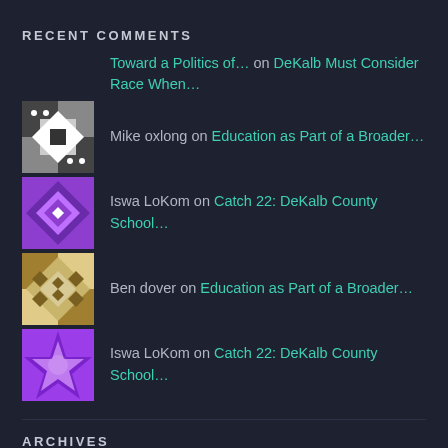RECENT COMMENTS
Toward a Politics of… on DeKalb Must Consider Race When…
Mike oxlong on Education as Part of a Broader…
Iswa LoKom on Catch 22: DeKalb County School…
Ben dover on Education as Part of a Broader…
Iswa LoKom on Catch 22: DeKalb County School…
ARCHIVES